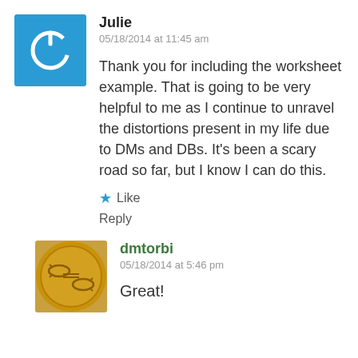[Figure (illustration): Blue square avatar with a white power/on button icon (circle with a gap at top and a vertical line)]
Julie
05/18/2014 at 11:45 am
Thank you for including the worksheet example. That is going to be very helpful to me as I continue to unravel the distortions present in my life due to DMs and DBs. It’s been a scary road so far, but I know I can do this.
★ Like
Reply
[Figure (illustration): Round coin-like avatar with a golden/bronze background and a fish (Pisces) zodiac symbol design in relief]
dmtorbi
05/18/2014 at 5:46 pm
Great!